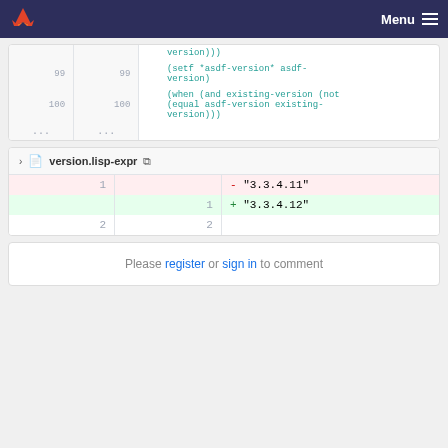Menu
[Figure (screenshot): Code diff showing Lisp code lines 99-100 with version))) setf *asdf-version* and when (and existing-version (not (equal asdf-version existing-version)))]
version.lisp-expr
| old line | new line | diff |
| --- | --- | --- |
| 1 |  | - "3.3.4.11" |
|  | 1 | + "3.3.4.12" |
| 2 | 2 |  |
Please register or sign in to comment